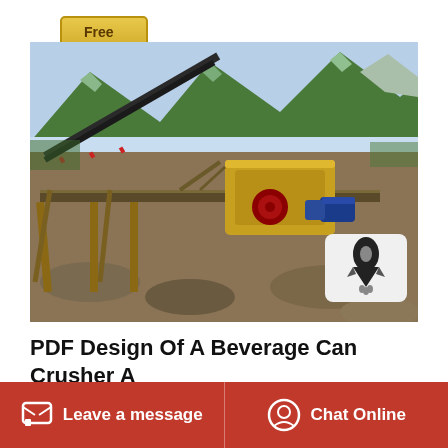Free Quote
[Figure (photo): Industrial crusher/mining equipment on an elevated steel platform with conveyor belts, set against a backdrop of green mountains. Heavy yellow crushing machine visible with electric motors. Rocky terrain in foreground.]
PDF Design Of A Beverage Can Crusher A
Leave a message
Chat Online